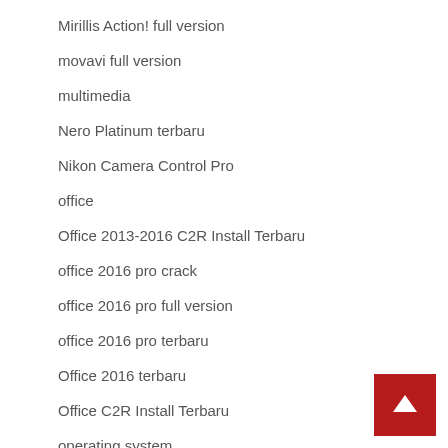Mirillis Action! full version
movavi full version
multimedia
Nero Platinum terbaru
Nikon Camera Control Pro
office
Office 2013-2016 C2R Install Terbaru
office 2016 pro crack
office 2016 pro full version
office 2016 pro terbaru
Office 2016 terbaru
Office C2R Install Terbaru
operating system